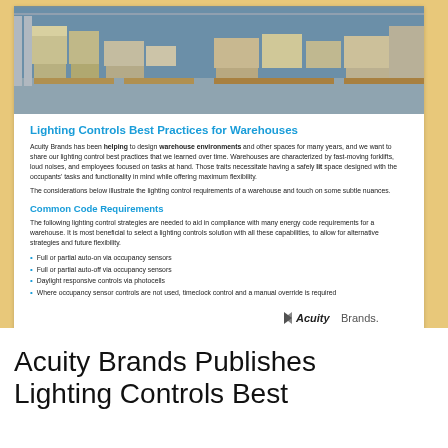[Figure (photo): Warehouse interior showing stacked boxes and pallets on shelving racks with high ceilings and industrial lighting]
Lighting Controls Best Practices for Warehouses
Acuity Brands has been helping to design warehouse environments and other spaces for many years, and we want to share our lighting control best practices that we learned over time. Warehouses are characterized by fast-moving forklifts, loud noises, and employees focused on tasks at hand. Those traits necessitate having a safely lit space designed with the occupants' tasks and functionality in mind while offering maximum flexibility.
The considerations below illustrate the lighting control requirements of a warehouse and touch on some subtle nuances.
Common Code Requirements
The following lighting control strategies are needed to aid in compliance with many energy code requirements for a warehouse. It is most beneficial to select a lighting controls solution with all these capabilities, to allow for alternative strategies and future flexibility.
Full or partial auto-on via occupancy sensors
Full or partial auto-off via occupancy sensors
Daylight responsive controls via photocells
Where occupancy sensor controls are not used, timeclock control and a manual override is required
[Figure (logo): Acuity Brands logo with arrow symbol]
Acuity Brands Publishes Lighting Controls Best